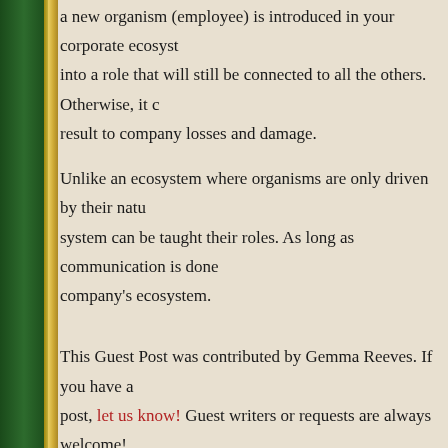Remember, a workplace culture should not just be balanced, it should be like a new organism (employee) is introduced in your corporate ecosystem, and into a role that will still be connected to all the others. Otherwise, it could result to company losses and damage.
Unlike an ecosystem where organisms are only driven by their natural instincts, the system can be taught their roles. As long as communication is done, it will work with company's ecosystem.
This Guest Post was contributed by Gemma Reeves. If you have a post, let us know! Guest writers or requests are always welcome!
Author Bio:
Gemma Reeves is a seasoned writer who enjoys creating helpful articles and has worked with several clients across different industries such as advertising, technology, healthcare, family matters, and more. She is also an aspiring entrepreneur engaged in assisting other aspiring entrepreneurs in finding the best office space for their business. Check out her company here: FindMyWorkspace